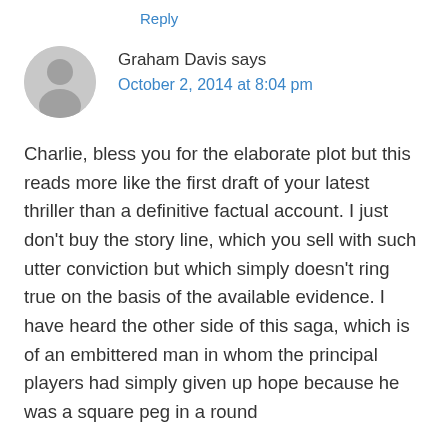Reply
Graham Davis says
October 2, 2014 at 8:04 pm
Charlie, bless you for the elaborate plot but this reads more like the first draft of your latest thriller than a definitive factual account. I just don't buy the story line, which you sell with such utter conviction but which simply doesn't ring true on the basis of the available evidence. I have heard the other side of this saga, which is of an embittered man in whom the principal players had simply given up hope because he was a square peg in a round